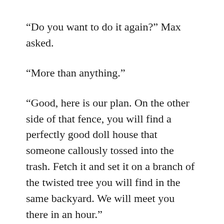“Do you want to do it again?” Max asked.
“More than anything.”
“Good, here is our plan. On the other side of that fence, you will find a perfectly good doll house that someone callously tossed into the trash. Fetch it and set it on a branch of the twisted tree you will find in the same backyard. We will meet you there in an hour.”
“I don’t get it.”
“An elephant, a tree and a doll house with white mice on the roof. What could be more